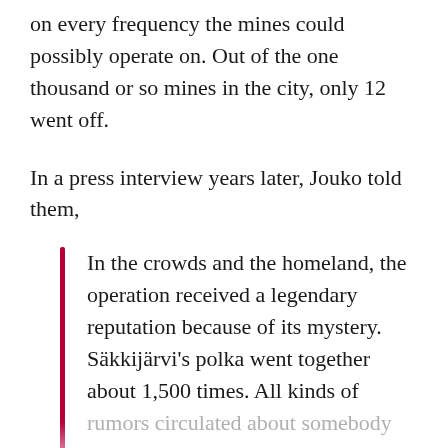on every frequency the mines could possibly operate on. Out of the one thousand or so mines in the city, only 12 went off.
In a press interview years later, Jouko told them,
In the crowds and the homeland, the operation received a legendary reputation because of its mystery. Säkkijärvi's polka went together about 1,500 times. All kinds of rumors circulated about somebody crazy enough to